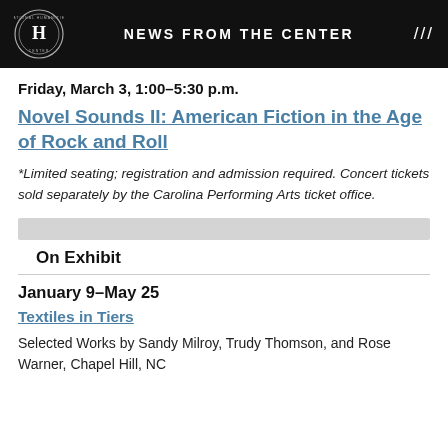NEWS FROM THE CENTER
Friday, March 3, 1:00–5:30 p.m.
Novel Sounds II: American Fiction in the Age of Rock and Roll
*Limited seating; registration and admission required. Concert tickets sold separately by the Carolina Performing Arts ticket office.
On Exhibit
January 9–May 25
Textiles in Tiers
Selected Works by Sandy Milroy, Trudy Thomson, and Rose Warner, Chapel Hill, NC